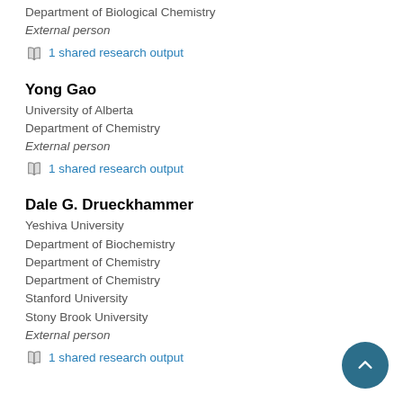Department of Biological Chemistry
External person
1 shared research output
Yong Gao
University of Alberta
Department of Chemistry
External person
1 shared research output
Dale G. Drueckhammer
Yeshiva University
Department of Biochemistry
Department of Chemistry
Department of Chemistry
Stanford University
Stony Brook University
External person
1 shared research output